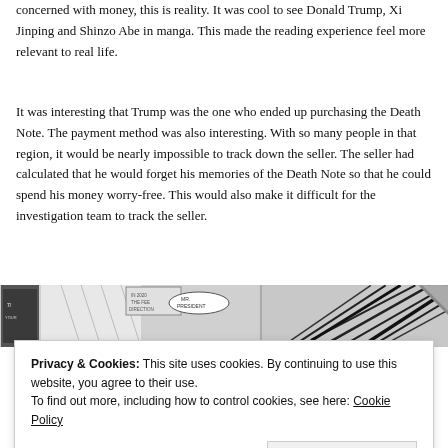concerned with money, this is reality. It was cool to see Donald Trump, Xi Jinping and Shinzo Abe in manga. This made the reading experience feel more relevant to real life.
It was interesting that Trump was the one who ended up purchasing the Death Note. The payment method was also interesting. With so many people in that region, it would be nearly impossible to track down the seller. The seller had calculated that he would forget his memories of the Death Note so that he could spend his money worry-free. This would also make it difficult for the investigation team to track the seller.
[Figure (illustration): Two manga panels side by side. Left panel shows manga comic strip imagery with speech bubbles including 'MR. PRESIDENT'. Right panel shows dramatic black spiky action lines typical of manga.]
Privacy & Cookies: This site uses cookies. By continuing to use this website, you agree to their use.
To find out more, including how to control cookies, see here: Cookie Policy
Close and accept